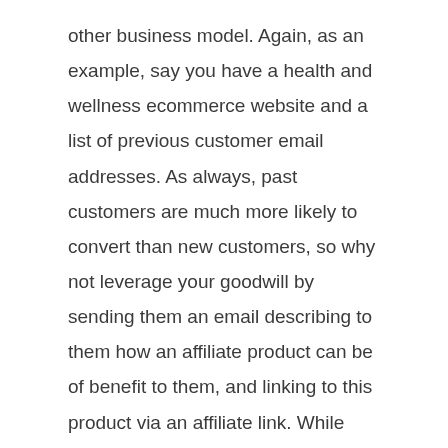other business model. Again, as an example, say you have a health and wellness ecommerce website and a list of previous customer email addresses. As always, past customers are much more likely to convert than new customers, so why not leverage your goodwill by sending them an email describing to them how an affiliate product can be of benefit to them, and linking to this product via an affiliate link. While you're at it, you can talk about your latest dropshipping products and link to them as well.
Email marketing is a whole other field in itself – if